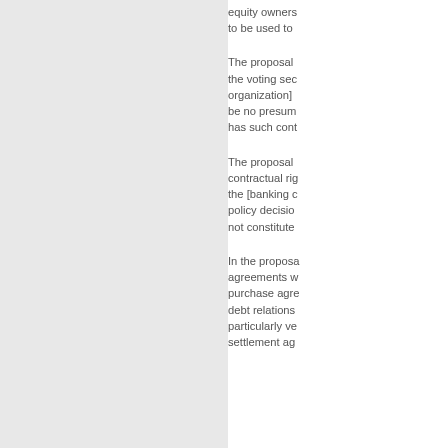equity owners to be used to
The proposal the voting sec organization] be no presum has such cont
The proposal contractual rig the [banking c policy decisio not constitute
In the proposa agreements w purchase agre debt relations particularly ve settlement ag